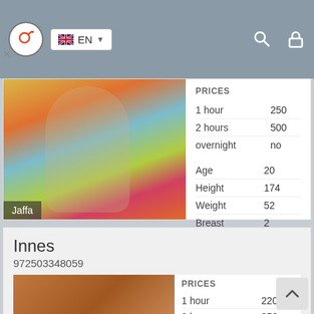EN
PRICES
1 hour   250
2 hours   500
overnight   no
Age   20
Height   174
Weight   52
Breast   2
[Figure (photo): Young woman in black jacket and denim shorts standing in front of colorful wall. Label: Jaffa]
Innes
972503348059
PRICES
1 hour   220
2 hours   350
overnight   600
[Figure (photo): Close-up photo]